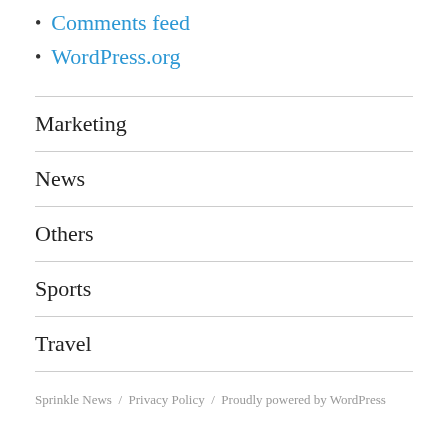Comments feed
WordPress.org
Marketing
News
Others
Sports
Travel
Sprinkle News / Privacy Policy / Proudly powered by WordPress